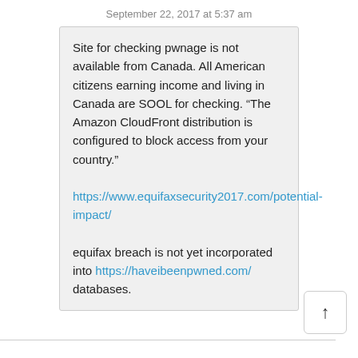September 22, 2017 at 5:37 am
Site for checking pwnage is not available from Canada. All American citizens earning income and living in Canada are SOOL for checking. “The Amazon CloudFront distribution is configured to block access from your country.” https://www.equifaxsecurity2017.com/potential-impact/ equifax breach is not yet incorporated into https://haveibeenpwned.com/ databases.